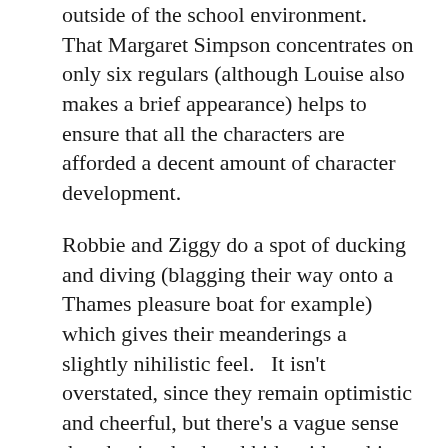outside of the school environment. That Margaret Simpson concentrates on only six regulars (although Louise also makes a brief appearance) helps to ensure that all the characters are afforded a decent amount of character development.
Robbie and Ziggy do a spot of ducking and diving (blagging their way onto a Thames pleasure boat for example) which gives their meanderings a slightly nihilistic feel.   It isn't overstated, since they remain optimistic and cheerful, but there's a vague sense that they're dead-end kids with nothing to do and nowhere to go.  Later, when they run out of money the pair are forced to jump the barriers at the Tube station (and dodge the inevitably angry